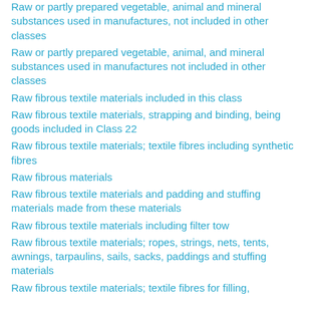Raw or partly prepared vegetable, animal and mineral substances used in manufactures, not included in other classes
Raw or partly prepared vegetable, animal, and mineral substances used in manufactures not included in other classes
Raw fibrous textile materials included in this class
Raw fibrous textile materials, strapping and binding, being goods included in Class 22
Raw fibrous textile materials; textile fibres including synthetic fibres
Raw fibrous materials
Raw fibrous textile materials and padding and stuffing materials made from these materials
Raw fibrous textile materials including filter tow
Raw fibrous textile materials; ropes, strings, nets, tents, awnings, tarpaulins, sails, sacks, paddings and stuffing materials
Raw fibrous textile materials; textile fibres for filling,